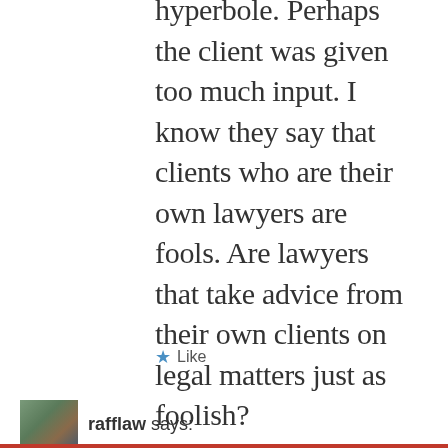hyperbole. Perhaps the client was given too much input. I know they say that clients who are their own lawyers are fools. Are lawyers that take advice from their own clients on legal matters just as foolish?
★ Like
rafflaw says: